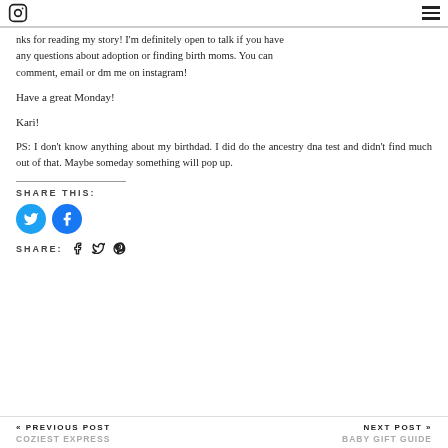Instagram icon | Hamburger menu
nks for reading my story! I'm definitely open to talk if you have any questions about adoption or finding birth moms. You can comment, email or dm me on instagram!
Have a great Monday!
Kari!
PS: I don't know anything about my birthdad. I did do the ancestry dna test and didn't find much out of that. Maybe someday something will pop up.
SHARE THIS:
[Figure (illustration): Twitter and Facebook circular share buttons in blue]
SHARE: [Facebook icon] [Twitter icon] [Pinterest icon]
« PREVIOUS POST  COZIEST EXPRESS | NEXT POST »  BABY GIFT GUIDE